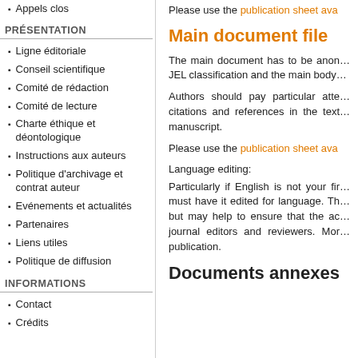Appels clos
PRÉSENTATION
Ligne éditoriale
Conseil scientifique
Comité de rédaction
Comité de lecture
Charte éthique et déontologique
Instructions aux auteurs
Politique d'archivage et contrat auteur
Evénements et actualités
Partenaires
Liens utiles
Politique de diffusion
INFORMATIONS
Contact
Crédits
Please use the publication sheet ava…
Main document file
The main document has to be anon… JEL classification and the main body…
Authors should pay particular atte… citations and references in the text… manuscript.
Please use the publication sheet ava…
Language editing:
Particularly if English is not your fir… must have it edited for language. Th… but may help to ensure that the ac… journal editors and reviewers. Mor… publication.
Documents annexes